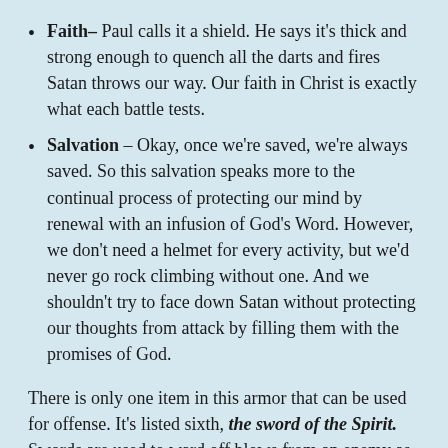Faith– Paul calls it a shield. He says it's thick and strong enough to quench all the darts and fires Satan throws our way. Our faith in Christ is exactly what each battle tests.
Salvation – Okay, once we're saved, we're always saved. So this salvation speaks more to the continual process of protecting our mind by renewal with an infusion of God's Word. However, we don't need a helmet for every activity, but we'd never go rock climbing without one. And we shouldn't try to face down Satan without protecting our thoughts from attack by filling them with the promises of God.
There is only one item in this armor that can be used for offense. It's listed sixth, the sword of the Spirit. Swords are used to ward off blows from an enemy as well as to cut down an opponent. Our Bible is the